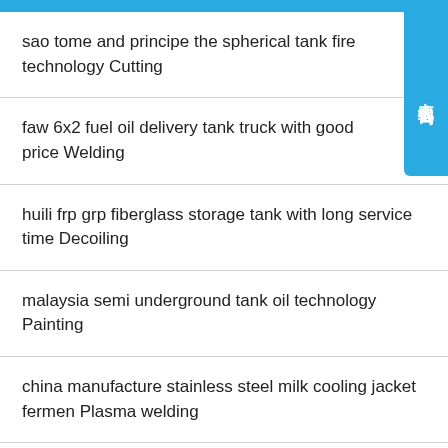sao tome and principe the spherical tank fire technology Cutting
faw 6x2 fuel oil delivery tank truck with good price Welding
huili frp grp fiberglass storage tank with long service time Decoiling
malaysia semi underground tank oil technology Painting
china manufacture stainless steel milk cooling jacket fermen Plasma welding
low price vertical cryogenic liquid 30m3 lng tank container Painting